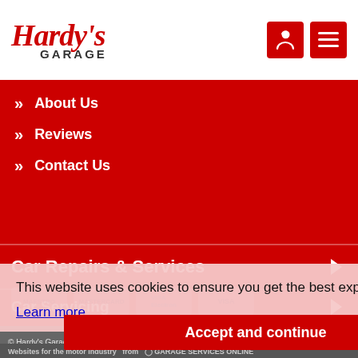[Figure (logo): Hardy's Garage logo in red italic script with GARAGE in bold black letters below]
About Us
Reviews
Contact Us
Car Repairs & Services
Car Servicing
This website uses cookies to ensure you get the best experience on our website.
Learn more
Accept and continue
© Hardy's Garage · 2022
Websites for the motor industry from Garage Services Online